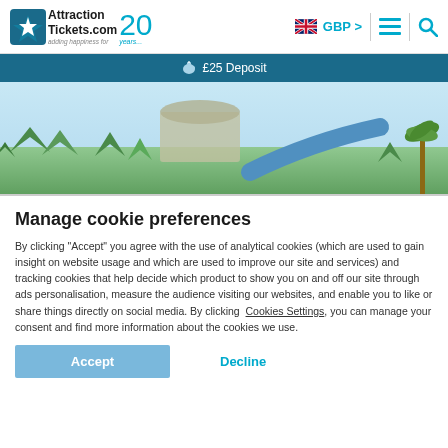AttractionTickets.com 20 years — adding happiness for years | GBP
£25 Deposit
[Figure (photo): Outdoor theme park scene with blue sky, green trees and palm trees in the background]
Manage cookie preferences
By clicking "Accept" you agree with the use of analytical cookies (which are used to gain insight on website usage and which are used to improve our site and services) and tracking cookies that help decide which product to show you on and off our site through ads personalisation, measure the audience visiting our websites, and enable you to like or share things directly on social media. By clicking Cookies Settings, you can manage your consent and find more information about the cookies we use.
Accept | Decline